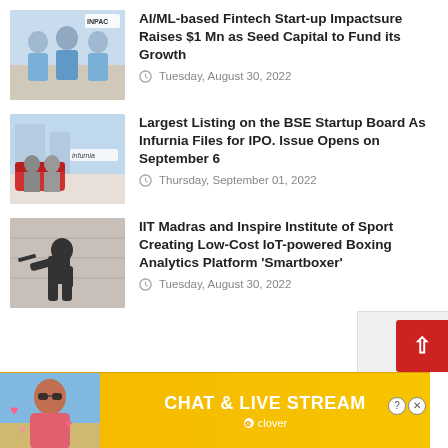[Figure (photo): Three men in light blue t-shirts standing together, IMPAC logo visible in top right]
AI/ML-based Fintech Start-up Impactsure Raises $1 Mn as Seed Capital to Fund its Growth
Tuesday, August 30, 2022
[Figure (photo): Two people sitting on red couches in an office, infurnia logo visible]
Largest Listing on the BSE Startup Board As Infurnia Files for IPO. Issue Opens on September 6
Thursday, September 01, 2022
[Figure (photo): Silhouette of a boxer in fighting stance against a wall]
IIT Madras and Inspire Institute of Sport Creating Low-Cost IoT-powered Boxing Analytics Platform 'Smartboxer'
Tuesday, August 30, 2022
[Figure (screenshot): Advertisement banner for CHAT & LIVE STREAM by clover with a woman in sunglasses photo on the left]